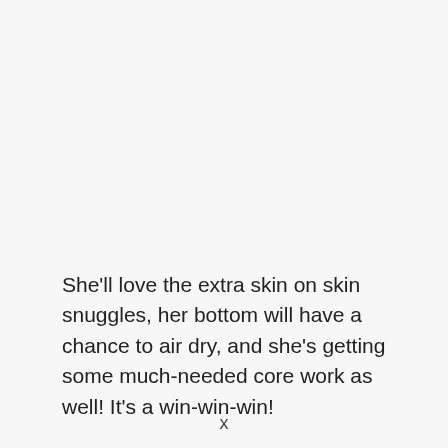She'll love the extra skin on skin snuggles, her bottom will have a chance to air dry, and she's getting some much-needed core work as well! It's a win-win-win!
x